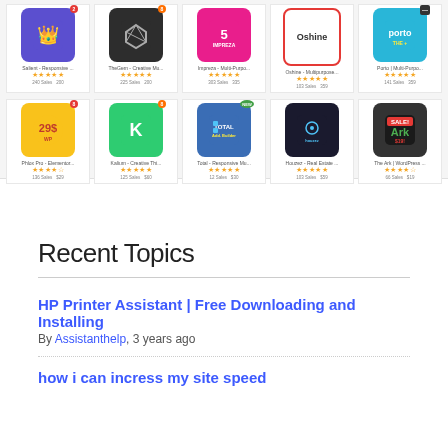[Figure (screenshot): Grid of WordPress theme thumbnails showing two rows of 5 themes each: Row 1: Salient - Responsive, TheGem - Creative Mu..., Impreza - Multi-Purpo..., Oshine - Multipurpose..., Porto | Multi-Purpo... with star ratings and sales counts. Row 2: Phlox Pro - Elementor..., Kalium - Creative Thi..., Total - Responsive Mu..., Houzez - Real Estate..., The Ark | WordPress... with star ratings and sales counts.]
Recent Topics
HP Printer Assistant | Free Downloading and Installing
By Assistanthelp, 3 years ago
how i can incress my site speed